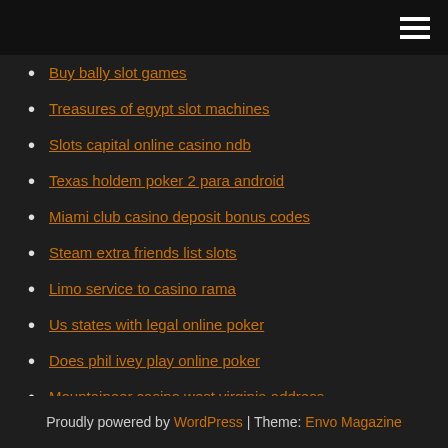[hamburger menu icon]
Buy bally slot games
Treasures of egypt slot machines
Slots capital online casino ndb
Texas holdem poker 2 para android
Miami club casino deposit bonus codes
Steam extra friends list slots
Limo service to casino rama
Us states with legal online poker
Does phil ivey play online poker
Mountaineer casino west virginia address
Silver oak casino no deposit bonus new player
Proudly powered by WordPress | Theme: Envo Magazine